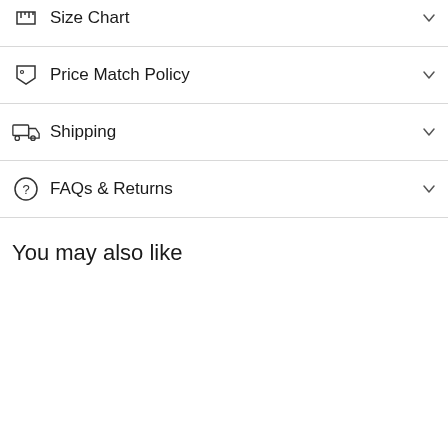Size Chart
Price Match Policy
Shipping
FAQs & Returns
You may also like